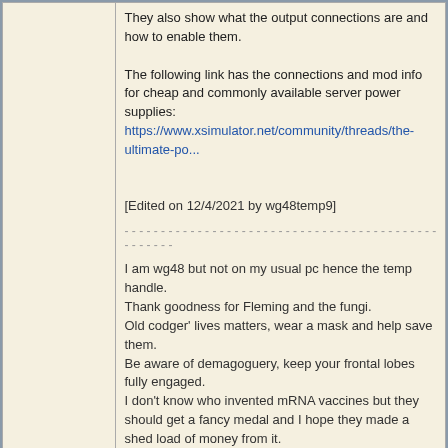They also show what the output connections are and how to enable them.

The following link has the connections and mod info for cheap and commonly available server power supplies:
https://www.xsimulator.net/community/threads/the-ultimate-po...

[Edited on 12/4/2021 by wg48temp9]
I am wg48 but not on my usual pc hence the temp handle.
Thank goodness for Fleming and the fungi.
Old codger' lives matters, wear a mask and help save them.
Be aware of demagoguery, keep your frontal lobes fully engaged.
I don't know who invented mRNA vaccines but they should get a fancy medal and I hope they made a shed load of money from it.
PROFILE  FIND
metalresearcher
International Hazard
★★★★★
posted on 3-12-2021 at 09:18